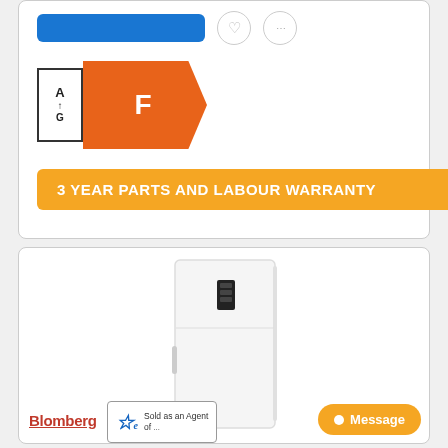[Figure (infographic): Blue button, heart icon, share icon in top row of product card]
[Figure (infographic): EU Energy efficiency label rating F on orange arrow, scale A to G]
3 YEAR PARTS AND LABOUR WARRANTY
[Figure (photo): White upright tall fridge/freezer appliance with small black digital display panel near top]
[Figure (logo): Blomberg brand logo in red underlined text]
[Figure (infographic): Sold as an Agent badge with star-e logo]
[Figure (infographic): Message chat button in orange/amber]